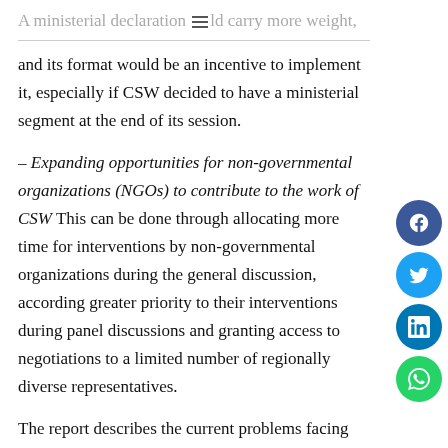A ministerial declaration [menu icon] ld carry more weight,
and its format would be an incentive to implement it, especially if CSW decided to have a ministerial segment at the end of its session.
– Expanding opportunities for non-governmental organizations (NGOs) to contribute to the work of CSW This can be done through allocating more time for interventions by non-governmental organizations during the general discussion, according greater priority to their interventions during panel discussions and granting access to negotiations to a limited number of regionally diverse representatives.
The report describes the current problems facing representatives of NGOs: